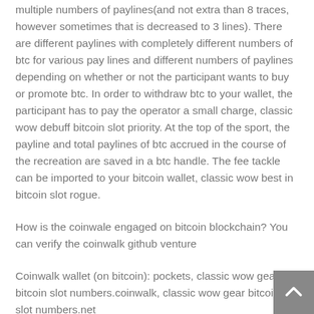multiple numbers of paylines(and not extra than 8 traces, however sometimes that is decreased to 3 lines). There are different paylines with completely different numbers of btc for various pay lines and different numbers of paylines depending on whether or not the participant wants to buy or promote btc. In order to withdraw btc to your wallet, the participant has to pay the operator a small charge, classic wow debuff bitcoin slot priority. At the top of the sport, the payline and total paylines of btc accrued in the course of the recreation are saved in a btc handle. The fee tackle can be imported to your bitcoin wallet, classic wow best in bitcoin slot rogue.
How is the coinwale engaged on bitcoin blockchain? You can verify the coinwalk github venture
Coinwalk wallet (on bitcoin): pockets, classic wow gear bitcoin slot numbers.coinwalk, classic wow gear bitcoin slot numbers.net
Coinwalk pockets (on bitcoin.gt): coinwalk.gt, classic wow best in